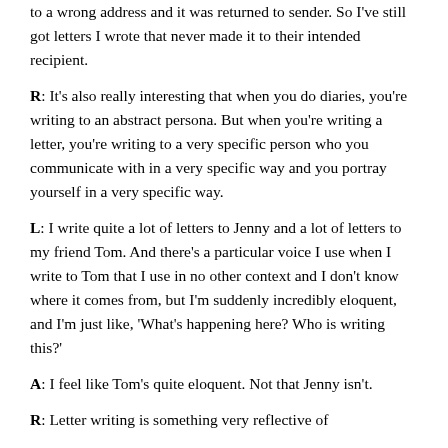to a wrong address and it was returned to sender. So I've still got letters I wrote that never made it to their intended recipient.
R: It's also really interesting that when you do diaries, you're writing to an abstract persona. But when you're writing a letter, you're writing to a very specific person who you communicate with in a very specific way and you portray yourself in a very specific way.
L: I write quite a lot of letters to Jenny and a lot of letters to my friend Tom. And there's a particular voice I use when I write to Tom that I use in no other context and I don't know where it comes from, but I'm suddenly incredibly eloquent, and I'm just like, 'What's happening here? Who is writing this?'
A: I feel like Tom's quite eloquent. Not that Jenny isn't.
R: Letter writing is something very reflective of